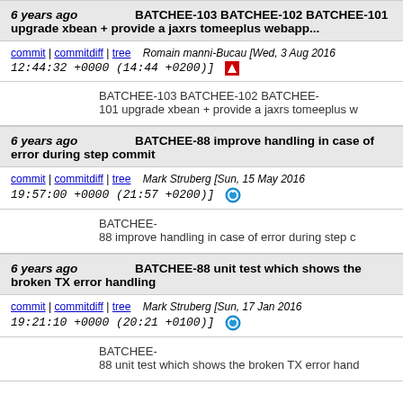6 years ago   BATCHEE-103 BATCHEE-102 BATCHEE-101 upgrade xbean + provide a jaxrs tomeeplus webapp...
commit | commitdiff | tree   Romain manni-Bucau [Wed, 3 Aug 2016 12:44:32 +0000 (14:44 +0200)]
BATCHEE-103 BATCHEE-102 BATCHEE-101 upgrade xbean + provide a jaxrs tomeeplus w
6 years ago   BATCHEE-88 improve handling in case of error during step commit
commit | commitdiff | tree   Mark Struberg [Sun, 15 May 2016 19:57:00 +0000 (21:57 +0200)]
BATCHEE-88 improve handling in case of error during step c
6 years ago   BATCHEE-88 unit test which shows the broken TX error handling
commit | commitdiff | tree   Mark Struberg [Sun, 17 Jan 2016 19:21:10 +0000 (20:21 +0100)]
BATCHEE-88 unit test which shows the broken TX error hand